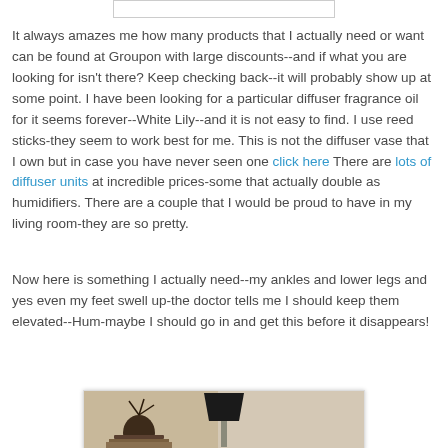[Figure (photo): Top portion of an image, partially visible at top of page, appears to be a white/light colored rectangular image strip]
It always amazes me how many products that I actually need or want can be found at Groupon with large discounts--and if what you are looking for isn't there? Keep checking back--it will probably show up at some point. I have been looking for a particular diffuser fragrance oil for it seems forever--White Lily--and it is not easy to find. I use reed sticks-they seem to work best for me. This is not the diffuser vase that I own but in case you have never seen one click here There are lots of diffuser units at incredible prices-some that actually double as humidifiers. There are a couple that I would be proud to have in my living room-they are so pretty.
Now here is something I actually need--my ankles and lower legs and yes even my feet swell up-the doctor tells me I should keep them elevated--Hum-maybe I should go in and get this before it disappears!
[Figure (photo): Bottom portion showing a room scene with a lamp and decorative items on a shelf, partially visible at bottom of page]